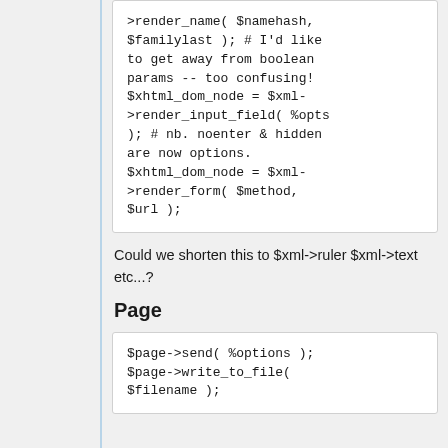[Figure (screenshot): Code block showing Perl/similar code with render_name, render_input_field, and render_form method calls]
Could we shorten this to $xml->ruler $xml->text etc...?
Page
[Figure (screenshot): Code block showing $page->send( %options ); $page->write_to_file( $filename );]